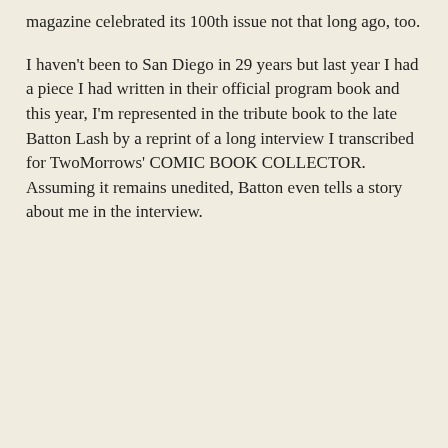magazine celebrated its 100th issue not that long ago, too.
I haven't been to San Diego in 29 years but last year I had a piece I had written in their official program book and this year, I'm represented in the tribute book to the late Batton Lash by a reprint of a long interview I transcribed for TwoMorrows' COMIC BOOK COLLECTOR. Assuming it remains unedited, Batton even tells a story about me in the interview.